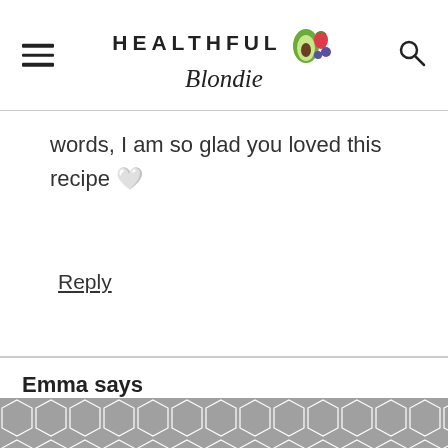HEALTHFUL Blondie
words, I am so glad you loved this recipe 🤍
Reply
Emma says
October 28, 2020 at 12:55 pm
[Figure (other): Geometric hexagon pattern background strip at bottom of page, gray colored]